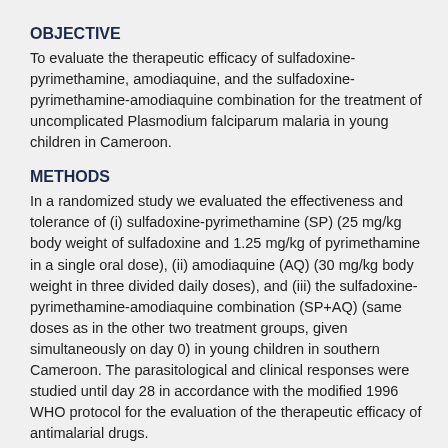OBJECTIVE
To evaluate the therapeutic efficacy of sulfadoxine-pyrimethamine, amodiaquine, and the sulfadoxine-pyrimethamine-amodiaquine combination for the treatment of uncomplicated Plasmodium falciparum malaria in young children in Cameroon.
METHODS
In a randomized study we evaluated the effectiveness and tolerance of (i) sulfadoxine-pyrimethamine (SP) (25 mg/kg body weight of sulfadoxine and 1.25 mg/kg of pyrimethamine in a single oral dose), (ii) amodiaquine (AQ) (30 mg/kg body weight in three divided daily doses), and (iii) the sulfadoxine-pyrimethamine-amodiaquine combination (SP+AQ) (same doses as in the other two treatment groups, given simultaneously on day 0) in young children in southern Cameroon. The parasitological and clinical responses were studied until day 28 in accordance with the modified 1996 WHO protocol for the evaluation of the therapeutic efficacy of antimalarial drugs.
FINDINGS
Of 191 enrolled patients, 6 and 8 were excluded or lost to follow-up before day 14 and between day 14 and day 28, respectively. For the AQ-treated patients, parasitological and clinical evaluation on day 14 showed late treatment